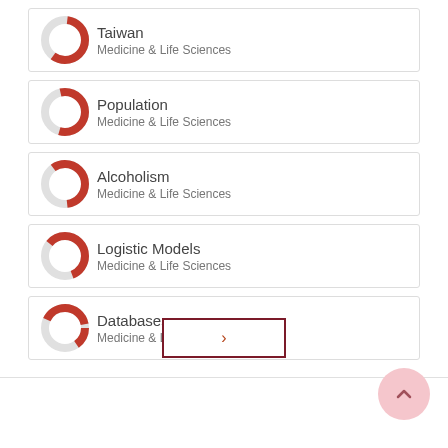Taiwan — Medicine & Life Sciences
Population — Medicine & Life Sciences
Alcoholism — Medicine & Life Sciences
Logistic Models — Medicine & Life Sciences
Databases — Medicine & Life Sciences
[Figure (other): Next page navigation button with right-arrow chevron, outlined in dark red]
[Figure (other): Back to top circular button with upward chevron in light pink]